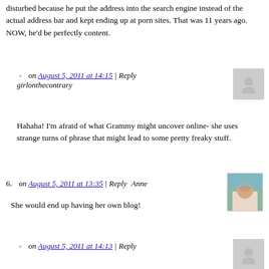disturbed because he put the address into the search engine instead of the actual address bar and kept ending up at porn sites. That was 11 years ago. NOW, he'd be perfectly content.
on August 5, 2011 at 14:15 | Reply girlonthecontrary
Hahaha! I'm afraid of what Grammy might uncover online- she uses strange turns of phrase that might lead to some pretty freaky stuff.
6. on August 5, 2011 at 13:35 | Reply Anne
She would end up having her own blog!
on August 5, 2011 at 14:13 | Reply